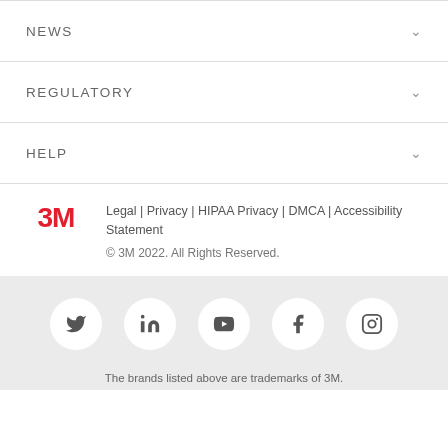NEWS
REGULATORY
HELP
Legal | Privacy | HIPAA Privacy | DMCA | Accessibility Statement
© 3M 2022. All Rights Reserved.
[Figure (other): Social media icons in circles: Twitter, LinkedIn, YouTube, Facebook, Instagram]
The brands listed above are trademarks of 3M.